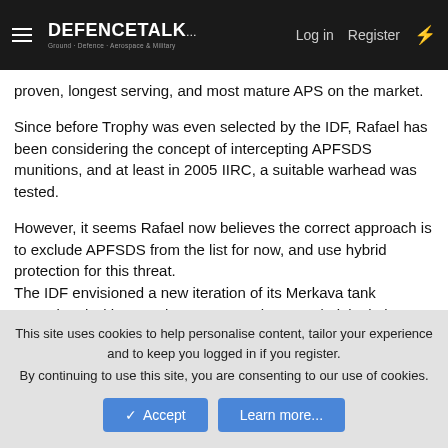DEFENCETALK — Log in | Register
proven, longest serving, and most mature APS on the market.
Since before Trophy was even selected by the IDF, Rafael has been considering the concept of intercepting APFSDS munitions, and at least in 2005 IIRC, a suitable warhead was tested.
However, it seems Rafael now believes the correct approach is to exclude APFSDS from the list for now, and use hybrid protection for this threat.
The IDF envisioned a new iteration of its Merkava tank operational with an anti-KE APFSDS by 2023 (original plan was for 2021), but it may not be fulfilled.
But if and when this technology proves itself, the Challenger is
This site uses cookies to help personalise content, tailor your experience and to keep you logged in if you register.
By continuing to use this site, you are consenting to our use of cookies.